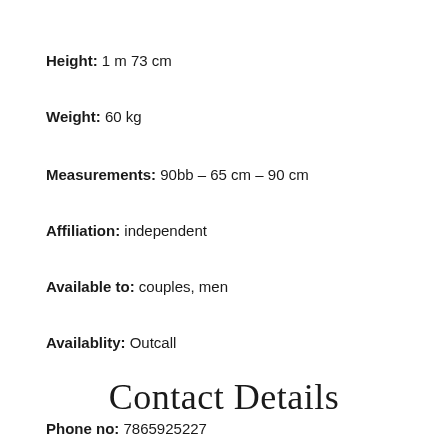Height: 1 m 73 cm
Weight: 60 kg
Measurements: 90bb – 65 cm – 90 cm
Affiliation: independent
Available to: couples, men
Availablity: Outcall
Contact Details
Phone no: 7865925227